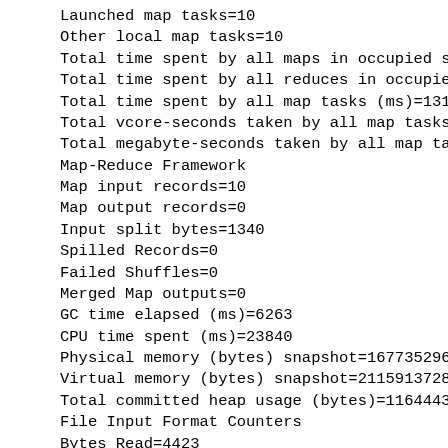Launched map tasks=10
Other local map tasks=10
Total time spent by all maps in occupied sl
Total time spent by all reduces in occupied
Total time spent by all map tasks (ms)=1314
Total vcore-seconds taken by all map tasks=
Total megabyte-seconds taken by all map tas
Map-Reduce Framework
Map input records=10
Map output records=0
Input split bytes=1340
Spilled Records=0
Failed Shuffles=0
Merged Map outputs=0
GC time elapsed (ms)=6263
CPU time spent (ms)=23840
Physical memory (bytes) snapshot=1677352960
Virtual memory (bytes) snapshot=21159137280
Total committed heap usage (bytes)=11644436
File Input Format Counters
Bytes Read=4423